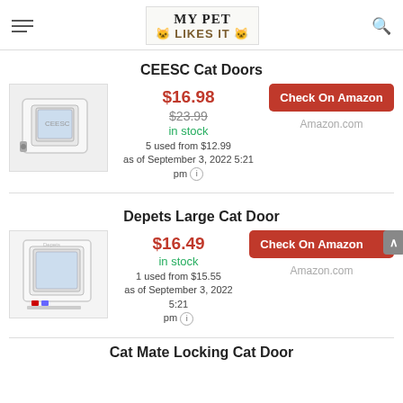MY PET LIKES IT
CEESC Cat Doors
[Figure (photo): White cat door / flap product photo on light background]
$16.98
$23.99
in stock
5 used from $12.99
as of September 3, 2022 5:21 pm
Check On Amazon
Amazon.com
Depets Large Cat Door
[Figure (photo): White/silver large cat door product photo on light background]
$16.49
in stock
1 used from $15.55
as of September 3, 2022 5:21 pm
Check On Amazon
Amazon.com
Cat Mate Locking Cat Door